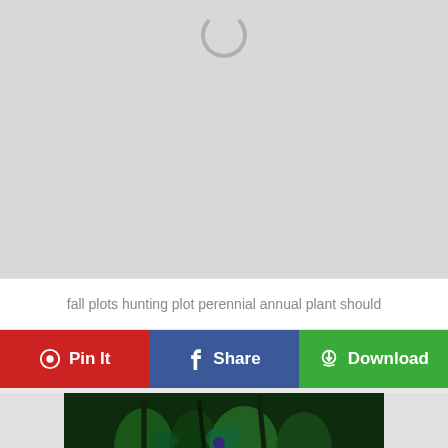[Figure (photo): Loading placeholder with spinner circle on gray background]
fall plots hunting plot perennial annual plant should
[Figure (other): Red Pin It button, blue Share button, green Download button row]
[Figure (photo): Dark green plant foliage photo, partially visible at bottom of page]